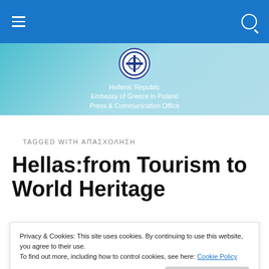Hellenic Republic Embassy of Greece in Poland Press & Communication Office
TAGGED WITH ΑΠΑΣΧΟΛΗΣΗ
Hellas:from Tourism to World Heritage
Privacy & Cookies: This site uses cookies. By continuing to use this website, you agree to their use.
To find out more, including how to control cookies, see here: Cookie Policy
slogan for the advertising campaign of the Greek National